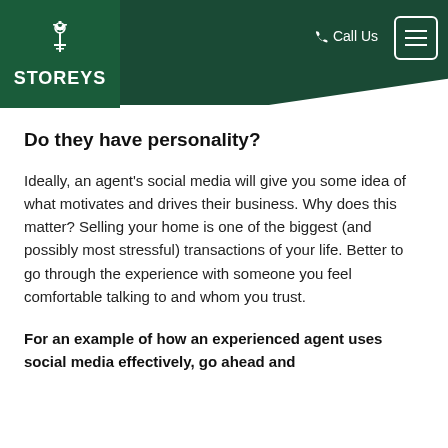[Figure (logo): Storeys real estate logo with key icon on dark green background, with Call Us button and hamburger menu icon in header]
nt.
Do they have personality?
Ideally, an agent's social media will give you some idea of what motivates and drives their business. Why does this matter? Selling your home is one of the biggest (and possibly most stressful) transactions of your life. Better to go through the experience with someone you feel comfortable talking to and whom you trust.
For an example of how an experienced agent uses social media effectively, go ahead and